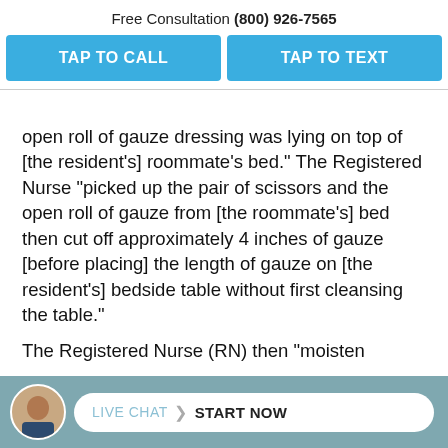Free Consultation (800) 926-7565
TAP TO CALL
TAP TO TEXT
open roll of gauze dressing was lying on top of [the resident’s] roommate’s bed.” The Registered Nurse “picked up the pair of scissors and the open roll of gauze from [the roommate’s] bed then cut off approximately 4 inches of gauze [before placing] the length of gauze on [the resident’s] bedside table without first cleansing the table.”
The Registered Nurse (RN) then “moisten